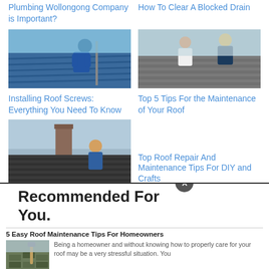Plumbing Wollongong Company is Important?
How To Clear A Blocked Drain
[Figure (photo): Worker in blue installing roof screws on a metal roof]
[Figure (photo): Two workers in safety gear doing roof maintenance on a tile roof]
Installing Roof Screws: Everything You Need To Know
Top 5 Tips For the Maintenance of Your Roof
[Figure (photo): Worker on a roof near a chimney doing roof repair]
Top Roof Repair And Maintenance Tips For DIY and Crafts
Recommended For You.
5 Easy Roof Maintenance Tips For Homeowners
[Figure (photo): Damaged roof shingles being repaired]
Being a homeowner and without knowing how to properly care for your roof may be a very stressful situation. You